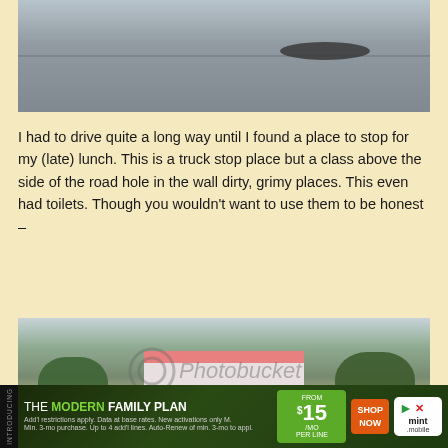[Figure (photo): Aerial or water-level view of a grey body of water with a dark shape visible on the right side]
I had to drive quite a long way until I found a place to stop for my (late) lunch. This is a truck stop place but a class above the side of the road hole in the wall dirty, grimy places. This even had toilets. Though you wouldn't want to use them to be honest –
[Figure (photo): Exterior view of an Indian roadside truck stop restaurant with white building, red tiled roof, trees, and cars parked in front. Photobucket watermark visible.]
[Figure (infographic): Advertisement banner: THE MODERN FAMILY PLAN from $15/mo per line SHOP NOW - mint mobile]